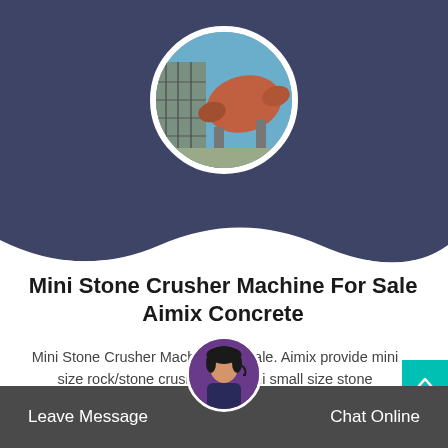[Figure (photo): Circular photo of an industrial rotary drum or ball mill machine on a construction site with scaffolding and blue sky background]
Mini Stone Crusher Machine For Sale Aimix Concrete
Mini Stone Crusher Machine For Sale. Aimix provide mini size rock/stone crushers for mini small size stone crushing project. Aimix min
[Figure (photo): Circular avatar photo of a female customer service representative wearing a headset]